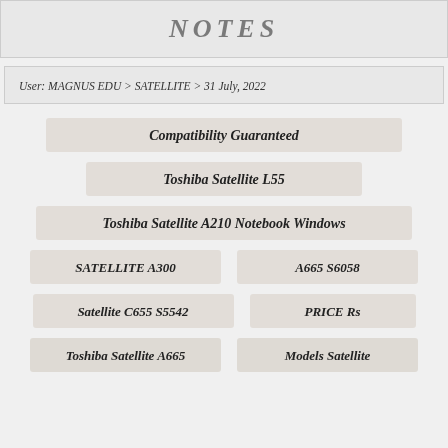NOTES
User: MAGNUS EDU > SATELLITE > 31 July, 2022
Compatibility Guaranteed
Toshiba Satellite L55
Toshiba Satellite A210 Notebook Windows
SATELLITE A300
A665 S6058
Satellite C655 S5542
PRICE Rs
Toshiba Satellite A665
Models Satellite